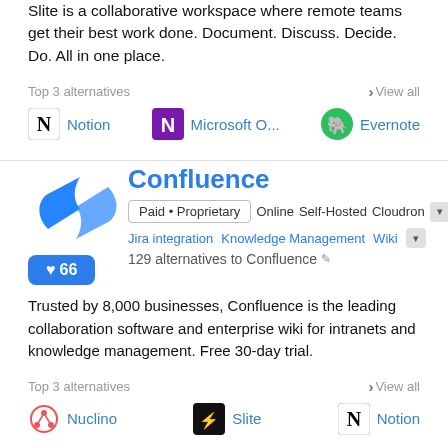Slite is a collaborative workspace where remote teams get their best work done. Document. Discuss. Decide. Do. All in one place.
Top 3 alternatives
View all
Notion
Microsoft O...
Evernote
Confluence
Paid • Proprietary  Online  Self-Hosted  Cloudron
Jira integration  Knowledge Management  Wiki
129 alternatives to Confluence
Trusted by 8,000 businesses, Confluence is the leading collaboration software and enterprise wiki for intranets and knowledge management. Free 30-day trial.
Top 3 alternatives
View all
Nuclino
Slite
Notion